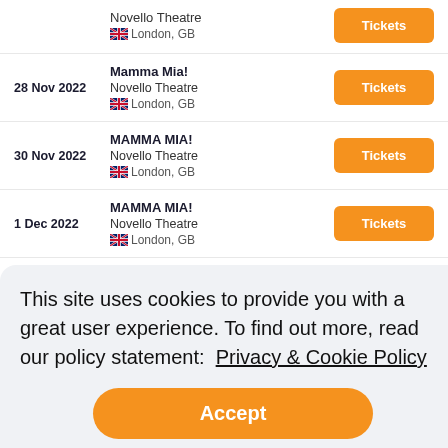Novello Theatre | London, GB | Tickets
28 Nov 2022 | Mamma Mia! | Novello Theatre | London, GB | Tickets
30 Nov 2022 | MAMMA MIA! | Novello Theatre | London, GB | Tickets
1 Dec 2022 | MAMMA MIA! | Novello Theatre | London, GB | Tickets
This site uses cookies to provide you with a great user experience. To find out more, read our policy statement:  Privacy & Cookie Policy
Accept
London, GB | Tickets